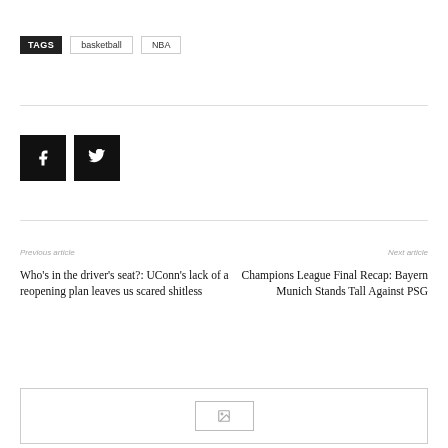TAGS  basketball  NBA
[Figure (other): Facebook and Twitter social share buttons (black square icons)]
Previous article
Next article
Who’s in the driver’s seat?: UConn’s lack of a reopening plan leaves us scared shitless
Champions League Final Recap: Bayern Munich Stands Tall Against PSG
[Figure (other): Advertisement placeholder box with broken image icon]